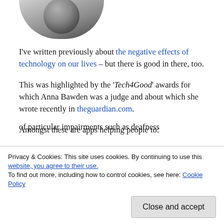[Figure (photo): Partial circular profile photo showing the bottom portion of a person's head/face, cropped at top edge of page]
I've written previously about the negative effects of technology on our lives – but there is good in there, too.
This was highlighted by the 'Tech4Good' awards for which Anna Bawden was a judge and about which she wrote recently in theguardian.com.
Amongst these are apps helping people to:
communicate and navigate – taking account of particular impairments such as deafness
useful in instances of breathing difficulties,
Privacy & Cookies: This site uses cookies. By continuing to use this website, you agree to their use.
To find out more, including how to control cookies, see here: Cookie Policy